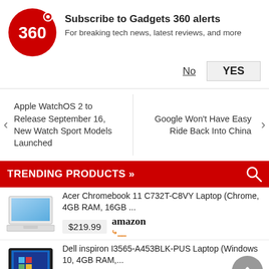[Figure (logo): Gadgets 360 red circle logo with '360' text]
Subscribe to Gadgets 360 alerts
For breaking tech news, latest reviews, and more
No   YES
Apple WatchOS 2 to Release September 16, New Watch Sport Models Launched
Google Won't Have Easy Ride Back Into China
TRENDING PRODUCTS »
Acer Chromebook 11 C732T-C8VY Laptop (Chrome, 4GB RAM, 16GB ...
$219.99  amazon
Dell inspiron I3565-A453BLK-PUS Laptop (Windows 10, 4GB RAM,...
$489.99  amazon